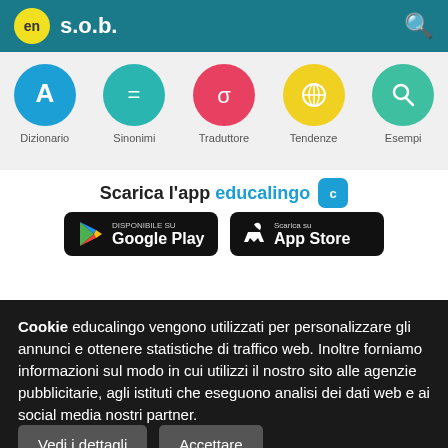en s.o.b.
[Figure (screenshot): Navigation bar with five circular icons: Dizionario (blue, letter A), Sinonimi (teal, equals), Traduttore (red, sigma), Tendenze (yellow, globe), Esempi (green, search)]
Scarica l'app educalingo
[Figure (screenshot): Two app store download buttons: Google Play and App Store on black backgrounds]
Cookie educalingo vengono utilizzati per personalizzare gli annunci e ottenere statistiche di traffico web. Inoltre forniamo informazioni sul modo in cui utilizzi il nostro sito alle agenzie pubblicitarie, agli istituti che eseguono analisi dei dati web e ai social media nostri partner.
Vedi i dettagli   Accettare